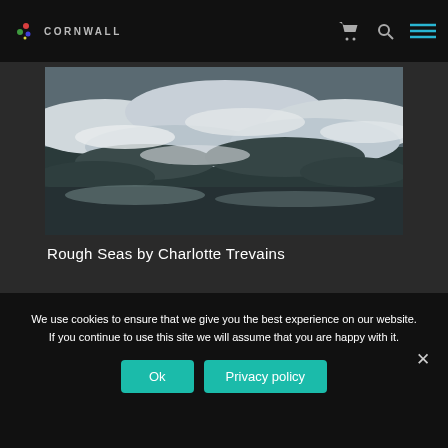CORNWALL
[Figure (photo): Painting of rough seas with crashing white waves on dark water, viewed from above]
Rough Seas by Charlotte Trevains
We use cookies to ensure that we give you the best experience on our website. If you continue to use this site we will assume that you are happy with it.
Ok  Privacy policy